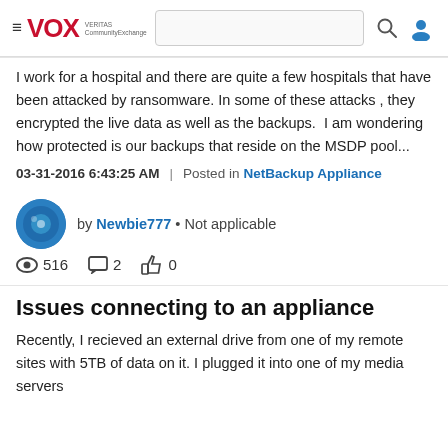≡ VOX VERITAS CommunityExchange [search bar] [search icon] [user icon]
I work for a hospital and there are quite a few hospitals that have been attacked by ransomware. In some of these attacks , they encrypted the live data as well as the backups.  I am wondering how protected is our backups that reside on the MSDP pool...
03-31-2016 6:43:25 AM  |  Posted in NetBackup Appliance
by Newbie777 • Not applicable
516 views  2 comments  0 likes
Issues connecting to an appliance
Recently, I recieved an external drive from one of my remote sites with 5TB of data on it. I plugged it into one of my media servers